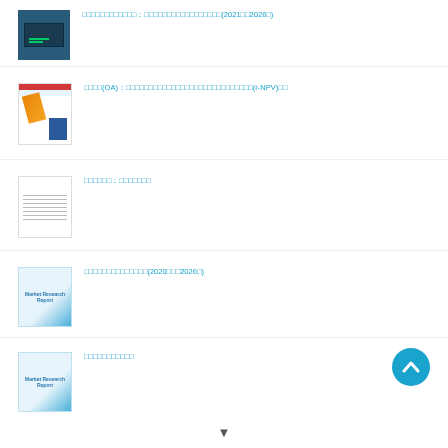□□□□□□□□□□□□：□□□□□□□□□□□□□□□□□(2021□□2026□)
□□□□(OA)：□□□□□□□□□□□□□□□□□□□□□□□□□□□□(r-NPV)□□
□□□□□□：□□□□□□□
□□□□□□□□□□□□□□(2020□□□2026□)
□□□□□□□□□□□
[Figure (illustration): Scroll up button (blue circle with chevron)]
[Figure (illustration): Scroll down arrow indicator]